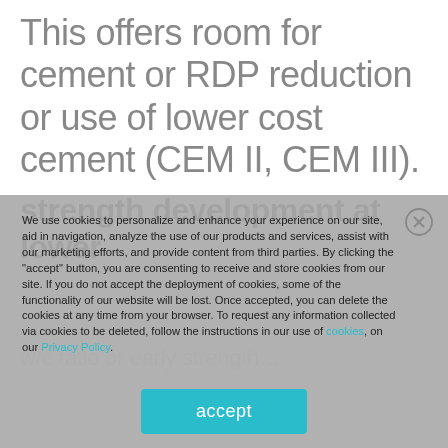This offers room for cement or RDP reduction or use of lower cost cement (CEM II, CEM III).
strength development at lower
We use cookies to personalize and enhance your experience on our site, aid in navigation, analyze the use of our products and services, assist with our marketing efforts, and provide content from third parties. By clicking the "accept" button, you are consenting to receive and store cookies from our site. If you do not accept the deployment of cookies, some of the functionality of our website will be lost. Once accepted, you can delete the cookies at any time from your browser. To request any information collected via cookies to be deleted, follow the instructions in our use of cookies, on our Privacy Policy.